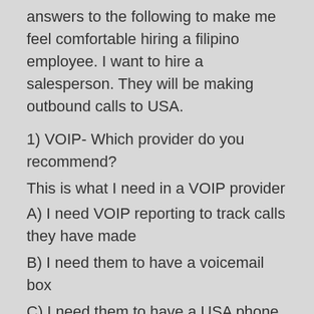answers to the following to make me feel comfortable hiring a filipino employee. I want to hire a salesperson. They will be making outbound calls to USA.
1) VOIP- Which provider do you recommend?
This is what I need in a VOIP provider
A) I need VOIP reporting to track calls they have made
B) I need them to have a voicemail box
C) I need them to have a USA phone number
D) Cost effective- I would prefer unlimited calls and not have to pay per minute